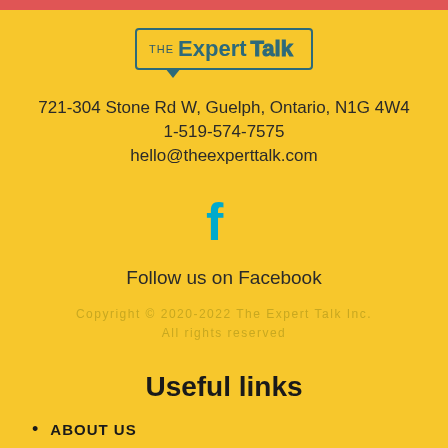[Figure (logo): The Expert Talk logo with teal border and speech bubble indicator]
721-304 Stone Rd W, Guelph, Ontario, N1G 4W4
1-519-574-7575
hello@theexperttalk.com
[Figure (illustration): Facebook 'f' icon in teal/cyan color]
Follow us on Facebook
Copyright © 2020-2022 The Expert Talk Inc.
All rights reserved
Useful links
ABOUT US